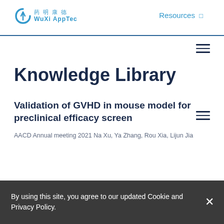[Figure (logo): WuXi AppTec logo with Chinese characters 药明康德 and stylized P icon in teal/blue]
Resources
Knowledge Library
Validation of GVHD in mouse model for preclinical efficacy screen
AACD Annual meeting 2021 Na Xu, Ya Zhang, Rou Xia, Lijun Jia
By using this site, you agree to our updated Cookie and Privacy Policy.